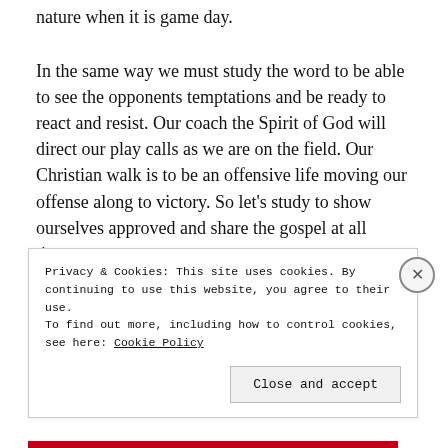must be practiced thoroughly so that it is like second nature when it is game day.
In the same way we must study the word to be able to see the opponents temptations and be ready to react and resist. Our coach the Spirit of God will direct our play calls as we are on the field. Our Christian walk is to be an offensive life moving our offense along to victory. So let’s study to show ourselves approved and share the gospel at all times.
Privacy & Cookies: This site uses cookies. By continuing to use this website, you agree to their use.
To find out more, including how to control cookies, see here: Cookie Policy
Close and accept